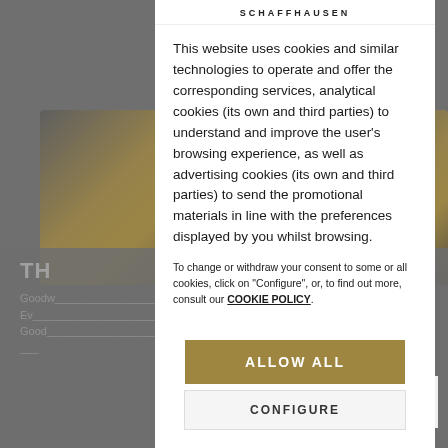[Figure (screenshot): Website background showing a yellow/orange sports car partially visible on a grey background, with blurred text and UI elements.]
SCHAFFHAUSEN
This website uses cookies and similar technologies to operate and offer the corresponding services, analytical cookies (its own and third parties) to understand and improve the user's browsing experience, as well as advertising cookies (its own and third parties) to send the promotional materials in line with the preferences displayed by you whilst browsing.
To change or withdraw your consent to some or all cookies, click on "Configure", or, to find out more, consult our COOKIE POLICY.
ALLOW ALL
CONFIGURE